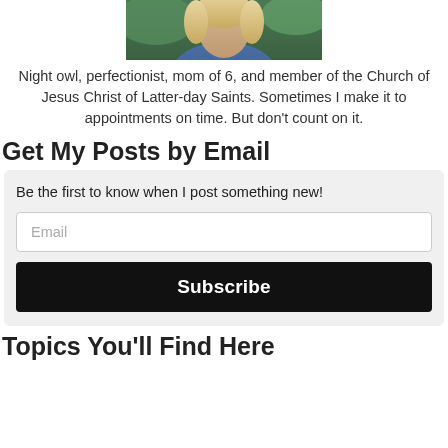[Figure (photo): Cropped photo of a blonde woman, showing from neck/shoulders up, wearing a blue top, with greenery in background.]
Night owl, perfectionist, mom of 6, and member of the Church of Jesus Christ of Latter-day Saints. Sometimes I make it to appointments on time. But don't count on it.
Get My Posts by Email
Be the first to know when I post something new!
Email
Subscribe
Topics You'll Find Here